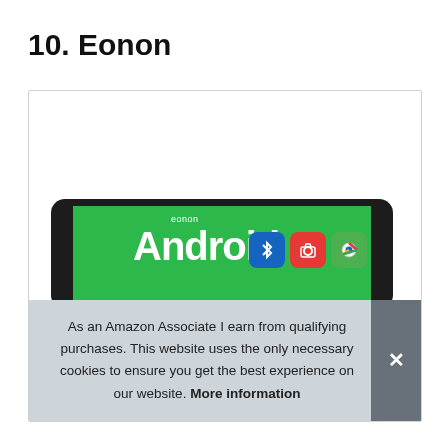10. Eonon
[Figure (photo): A tablet device showing an Eonon Android screen with app icons including Bluetooth, camera, and Chrome, displayed within a card/box with a light border. A cookie consent banner overlay reads: As an Amazon Associate I earn from qualifying purchases. This website uses the only necessary cookies to ensure you get the best experience on our website. More information]
As an Amazon Associate I earn from qualifying purchases. This website uses the only necessary cookies to ensure you get the best experience on our website. More information